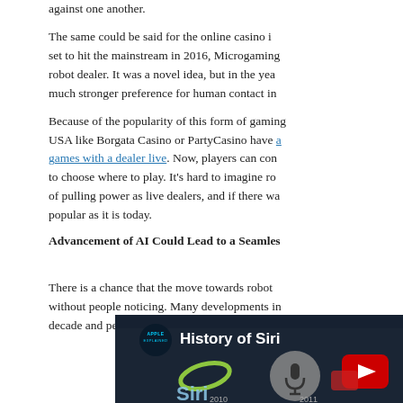against one another.
The same could be said for the online casino i... set to hit the mainstream in 2016, Microgaming... robot dealer. It was a novel idea, but in the yea... much stronger preference for human contact in...
Because of the popularity of this form of gaming... USA like Borgata Casino or PartyCasino have a... games with a dealer live. Now, players can com... to choose where to play. It's hard to imagine ro... of pulling power as live dealers, and if there wa... popular as it is today.
Advancement of AI Could Lead to a Seamles...
There is a chance that the move towards robots... without people noticing. Many developments in... decade and people have simply grown accusto...
[Figure (screenshot): YouTube video thumbnail showing 'History of Siri' by Apple Explained channel, with Siri logo, microphone icon, and YouTube play button on dark blue background.]